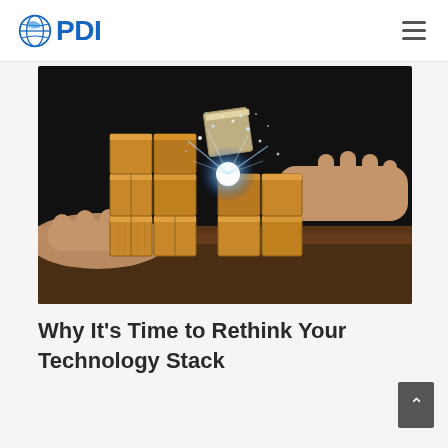PDI
[Figure (photo): Hands placing a glowing cube piece onto a wooden block puzzle resembling a Rubik's cube, with blue sparkles and light emanating from the point of connection, on a dark wooden surface.]
Why It’s Time to Rethink Your Technology Stack